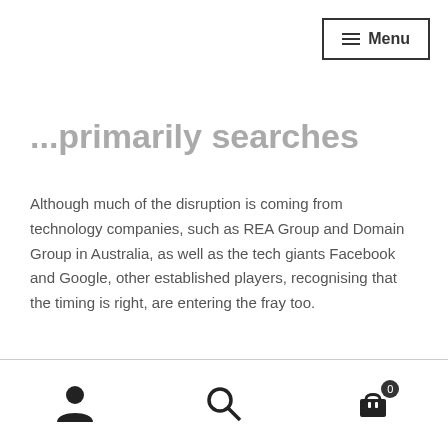≡ Menu
...primarily searches
Although much of the disruption is coming from technology companies, such as REA Group and Domain Group in Australia, as well as the tech giants Facebook and Google, other established players, recognising that the timing is right, are entering the fray too.
Together, these businesses are changing the way real estate in this country and across the world is bought, sold and rented. If real estate agents aren't proactive about this change, they'll end up being reactive. And they'll miss
[user icon] [search icon] [cart icon 0]